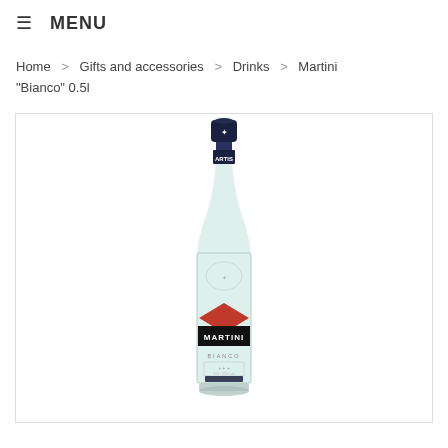☰ MENU
Home > Gifts and accessories > Drinks > Martini "Bianco" 0.5l
[Figure (photo): A bottle of Martini Bianco 0.5l vermouth with a clear glass bottle, dark navy cap, red diamond-shaped Martini logo label on a white background.]